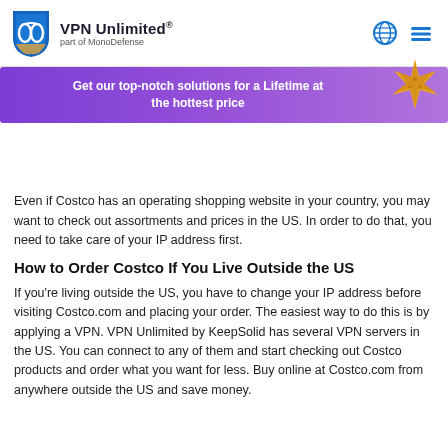VPN Unlimited® part of MonoDefense
19 c... skyrocketed ...bsite at Costco.com in 2004 for US customers.
[Figure (other): Purple promotional banner ribbon with starfish: 'Get our top-notch solutions for a Lifetime at the hottest price']
Even if Costco has an operating shopping website in your country, you may want to check out assortments and prices in the US. In order to do that, you need to take care of your IP address first.
How to Order Costco If You Live Outside the US
If you're living outside the US, you have to change your IP address before visiting Costco.com and placing your order. The easiest way to do this is by applying a VPN. VPN Unlimited by KeepSolid has several VPN servers in the US. You can connect to any of them and start checking out Costco products and order what you want for less. Buy online at Costco.com from anywhere outside the US and save money.